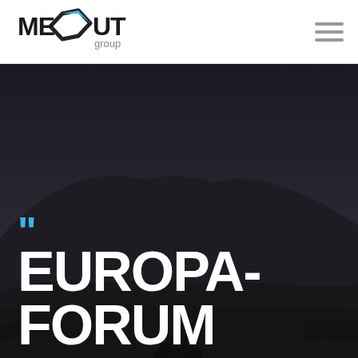[Figure (logo): MEOUT group logo — stylized diamond/arrow shape in black with blue highlight, bold black text MEOUT and smaller grey text 'group' beneath]
[Figure (photo): Dark moody landscape photograph showing mountain silhouette at dusk/night, dark sky, desert or arid terrain]
"EUROPA-FORUM